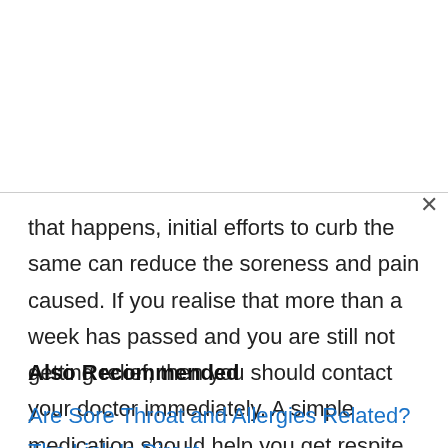that happens, initial efforts to curb the same can reduce the soreness and pain caused. If you realise that more than a week has passed and you are still not getting relief, then you should contact your doctor immediately. A simple medication should help you get respite from it. You can even follow the home remedies in case you think that your symptoms are not very severe as yet.
Also Recommended
Are Sore Throat and Allergies Related? The Link Is Direct